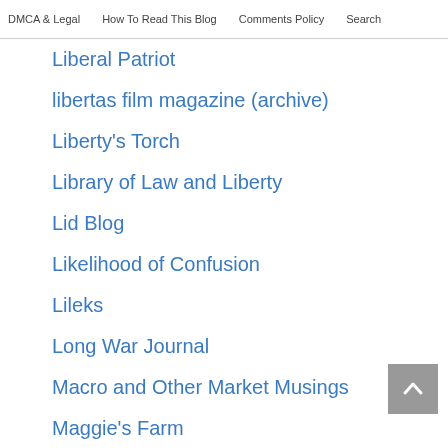DMCA & Legal   How To Read This Blog   Comments Policy   Search
Liberal Patriot
libertas film magazine (archive)
Liberty's Torch
Library of Law and Liberty
Lid Blog
Likelihood of Confusion
Lileks
Long War Journal
Macro and Other Market Musings
Maggie's Farm
Manhattan Contrarian
Marginal Revolution
Mark Cuban